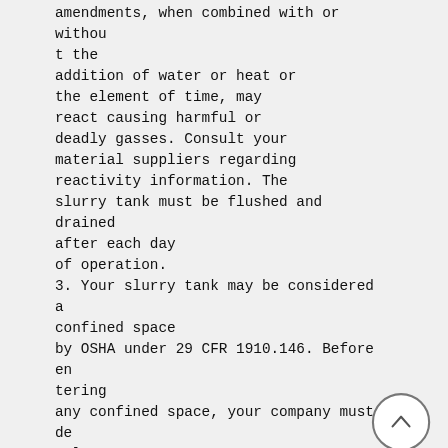amendments, when combined with or without the addition of water or heat or the element of time, may react causing harmful or deadly gasses. Consult your material suppliers regarding reactivity information. The slurry tank must be flushed and drained after each day of operation.
3. Your slurry tank may be considered a confined space by OSHA under 29 CFR 1910.146. Before entering any confined space, your company must develop a procedure for safe entry. Make sure your company's plan meets all the requirements of 29 CFR 1910.146, or local legal requirement, including the following:
a)
Drain, flush, and ventilate tank interio